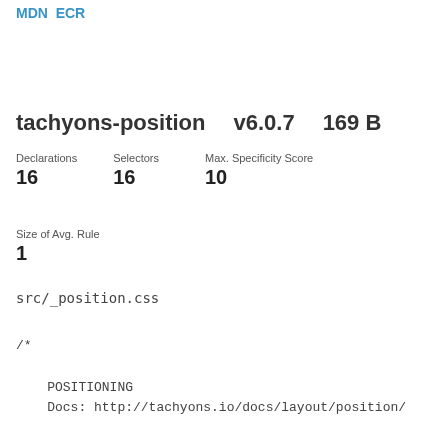MDN ECR
tachyons-position   v6.0.7   169 B
Declarations 16   Selectors 16   Max. Specificity Score 10
Size of Avg. Rule
1
src/_position.css
/*
    POSITIONING
    Docs: http://tachyons.io/docs/layout/position/